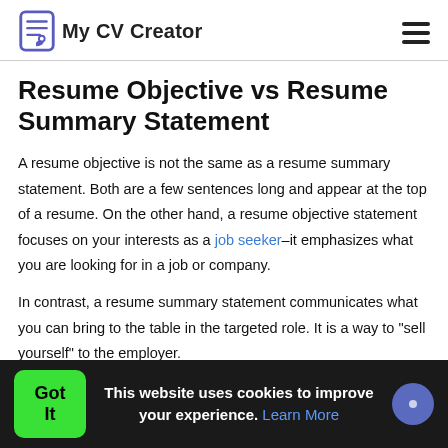My CV Creator
Resume Objective vs Resume Summary Statement
A resume objective is not the same as a resume summary statement. Both are a few sentences long and appear at the top of a resume. On the other hand, a resume objective statement focuses on your interests as a job seeker–it emphasizes what you are looking for in a job or company.
In contrast, a resume summary statement communicates what you can bring to the table in the targeted role. It is a way to "sell yourself" to the employer.
Got It  This website uses cookies to improve your experience. Learn More